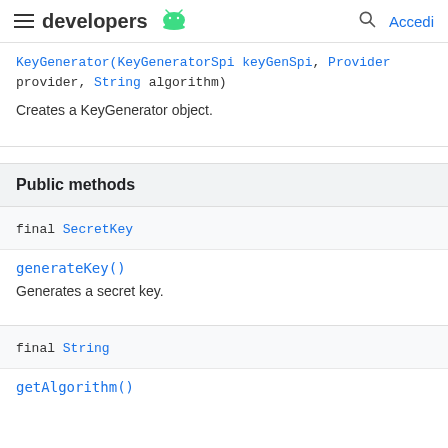developers  Accedi
KeyGenerator(KeyGeneratorSpi keyGenSpi, Provider provider, String algorithm)
Creates a KeyGenerator object.
Public methods
| Return type | Method |
| --- | --- |
| final SecretKey | generateKey()
Generates a secret key. |
| final String | getAlgorithm() |